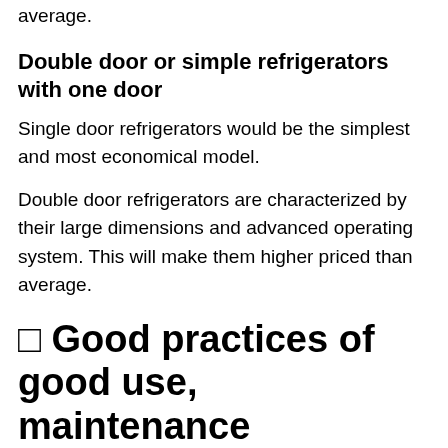average.
Double door or simple refrigerators with one door
Single door refrigerators would be the simplest and most economical model.
Double door refrigerators are characterized by their large dimensions and advanced operating system. This will make them higher priced than average.
🞅 Good practices of good use, maintenance